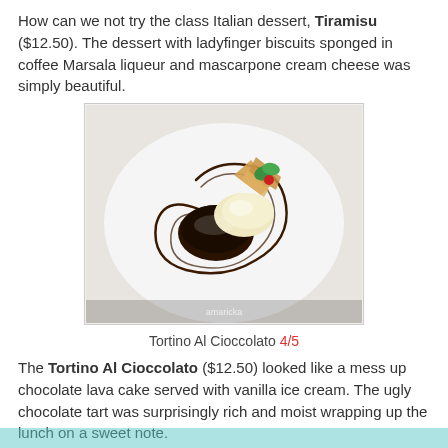How can we not try the class Italian dessert, Tiramisu ($12.50). The dessert with ladyfinger biscuits sponged in coffee Marsala liqueur and mascarpone cream cheese was simply beautiful.
[Figure (photo): Photo of Tortino Al Cioccolato dessert — a chocolate lava cake on a white plate with chocolate sauce swirls, vanilla ice cream, crispy wafers, and a mint garnish.]
Tortino Al Cioccolato 4/5
The Tortino Al Cioccolato ($12.50) looked like a mess up chocolate lava cake served with vanilla ice cream. The ugly chocolate tart was surprisingly rich and moist wrapping up the lunch on a sweet note.